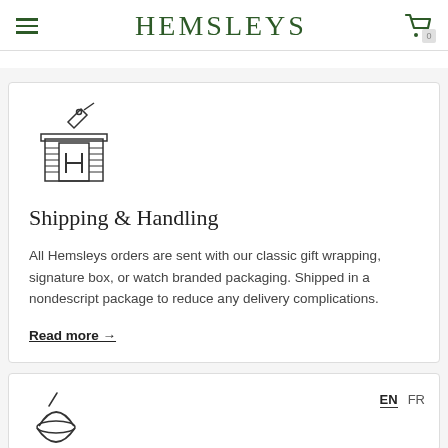HEMSLEYS
[Figure (illustration): Line art icon of a building/shop with a tag/label on top]
Shipping & Handling
All Hemsleys orders are sent with our classic gift wrapping, signature box, or watch branded packaging. Shipped in a nondescript package to reduce any delivery complications.
Read more →
[Figure (illustration): Partial line art icon of a ring or jewelry item]